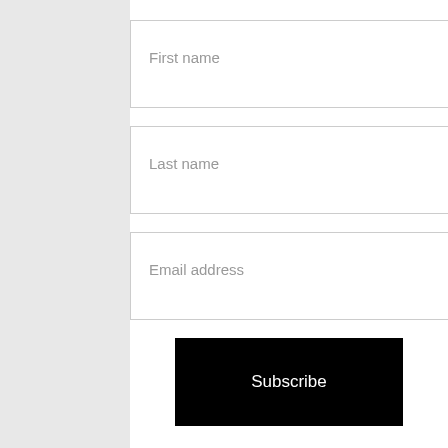First name
Last name
Email address
Subscribe
Share This Post
You might also like:
[Figure (photo): Food photo showing pasta or dessert items on a light background]